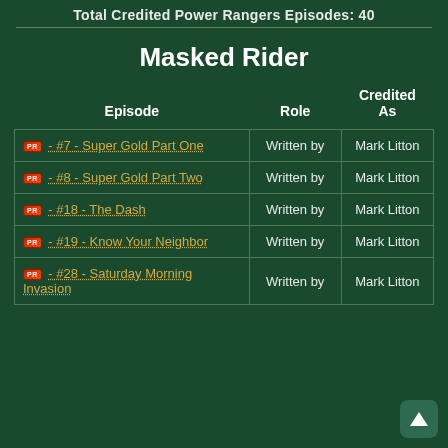Total Credited Power Rangers Episodes: 40
Masked Rider
| Episode | Role | Credited As |
| --- | --- | --- |
| [icon] - #7 - Super Gold Part One | Written by | Mark Litton |
| [icon] - #8 - Super Gold Part Two | Written by | Mark Litton |
| [icon] - #18 - The Dash | Written by | Mark Litton |
| [icon] - #19 - Know Your Neighbor | Written by | Mark Litton |
| [icon] - #28 - Saturday Morning Invasion | Written by | Mark Litton |